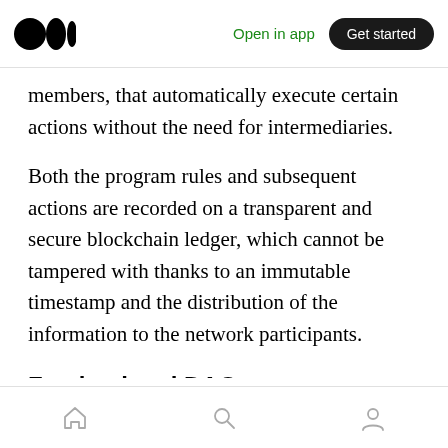Open in app | Get started
members, that automatically execute certain actions without the need for intermediaries.
Both the program rules and subsequent actions are recorded on a transparent and secure blockchain ledger, which cannot be tampered with thanks to an immutable timestamp and the distribution of the information to the network participants.
Faraland and DAOs
araland decides to use DAOs to ask for the
Home | Search | Profile